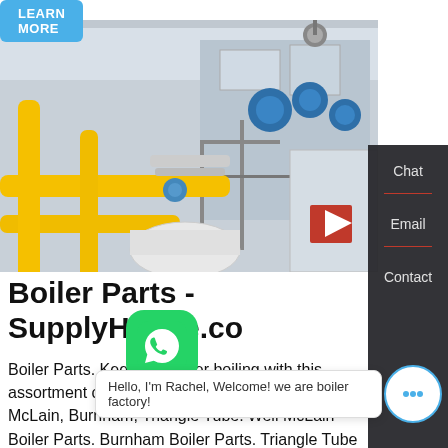[Figure (photo): Industrial boiler facility with yellow pipes, blue valves, and large boiler machines in a clean factory setting]
Boiler Parts - SupplyHouse.com
Boiler Parts. Keep the Boiler boiling with this assortment of Boiler Parts from brands like Weil McLain, Burnham, Triangle Tube. Weil McLain Boiler Parts. Burnham Boiler Parts. Triangle Tube
Hello, I'm Rachel, Welcome! we are boiler factory!